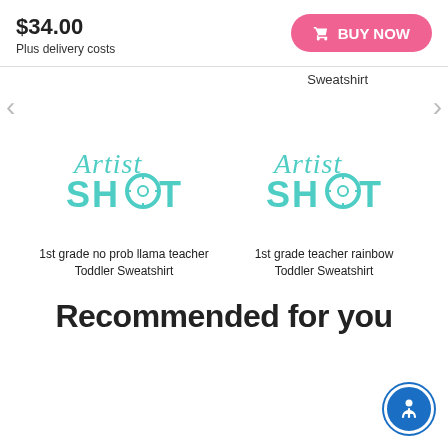$34.00
Plus delivery costs
BUY NOW
Sweatshirt
[Figure (logo): ArtistShot logo in teal color - script 'Artist' above bold 'SHOT' text with a crosshair/target symbol in the O]
1st grade no prob llama teacher Toddler Sweatshirt
[Figure (logo): ArtistShot logo in teal color - script 'Artist' above bold 'SHOT' text with a crosshair/target symbol in the O]
1st grade teacher rainbow Toddler Sweatshirt
Recommended for you